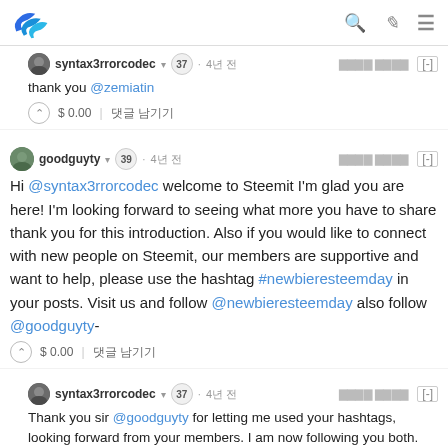Steemit logo, search, edit, menu icons
syntax3rrorcodec ▾ 37 · 4년 전  [-]
thank you @zemiatin
$ 0.00 | 댓글 남기기
goodguyty ▾ 39 · 4년 전  [-]
Hi @syntax3rrorcodec welcome to Steemit I'm glad you are here! I'm looking forward to seeing what more you have to share thank you for this introduction. Also if you would like to connect with new people on Steemit, our members are supportive and want to help, please use the hashtag #newbieresteemday in your posts. Visit us and follow @newbieresteemday also follow @goodguyty-
$ 0.00 | 댓글 남기기
syntax3rrorcodec ▾ 37 · 4년 전  [-]
Thank you sir @goodguyty for letting me used your hashtags, looking forward from your members. I am now following you both. Hoping we can do more conversations sharing ideas in every post.